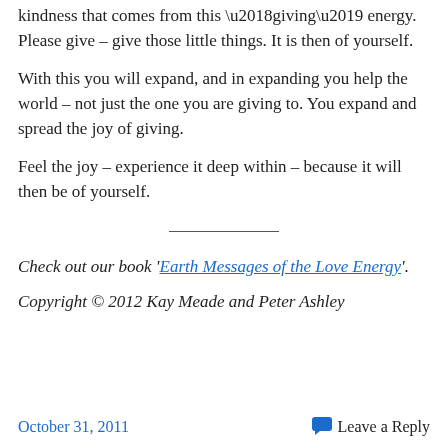kindness that comes from this ‘giving’ energy. Please give – give those little things. It is then of yourself.
With this you will expand, and in expanding you help the world – not just the one you are giving to. You expand and spread the joy of giving.
Feel the joy – experience it deep within – because it will then be of yourself.
Check out our book ‘Earth Messages of the Love Energy’.
Copyright © 2012 Kay Meade and Peter Ashley
October 31, 2011   Leave a Reply